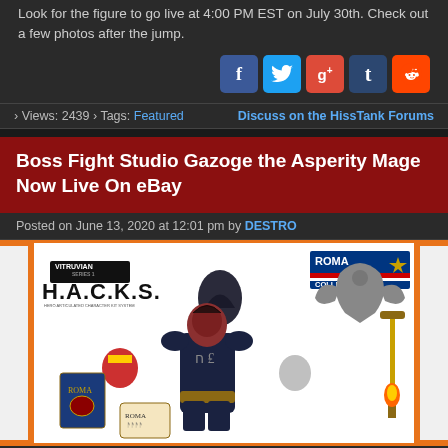Look for the figure to go live at 4:00 PM EST on July 30th. Check out a few photos after the jump.
[Figure (infographic): Social media share buttons: Facebook (blue), Twitter (cyan), Google+ (red-orange), Tumblr (dark blue), Reddit (orange)]
› Views: 2439 › Tags: Featured   Discuss on the HissTank Forums
Boss Fight Studio Gazoge the Asperity Mage Now Live On eBay
Posted on June 13, 2020 at 12:01 pm by DESTRO
[Figure (photo): Product photo of Boss Fight Studio Vitruvian H.A.C.K.S. Series 1 Gazoge the Asperity Mage figure with accessories, Roma Collectibles branding in top right corner.]
The new ROMA Collectibles Boss Fight Studio Exclusive Gazoge the